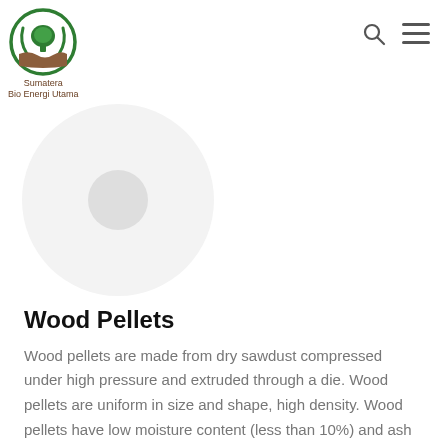[Figure (logo): Sumatera Bio Energi Utama logo: green circular icon with tree and recycling arrows, brown wavy base, with company name below]
[Figure (photo): Product image placeholder: large light gray circle with smaller gray circle inside, representing wood pellets product image]
Wood Pellets
Wood pellets are made from dry sawdust compressed under high pressure and extruded through a die. Wood pellets are uniform in size and shape, high density. Wood pellets have low moisture content (less than 10%) and ash content which result in high combustion and low maintenance cost.